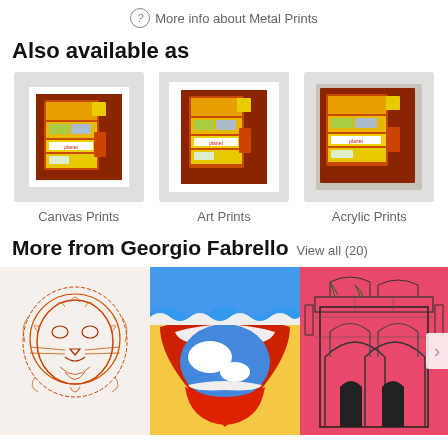More info about Metal Prints
Also available as
[Figure (photo): Three thumbnail images of an artwork showing a vintage jukebox/vending machine painting in warm reds and yellows, labeled Canvas Prints, Art Prints, and Acrylic Prints respectively]
Canvas Prints
Art Prints
Acrylic Prints
More from Georgio Fabrello View all (20)
[Figure (photo): Three artwork thumbnails: a lion sketch in red/orange ink, an open mouth with blue and red sky painting, and a detailed architectural sketch of arched ruins on pink background]